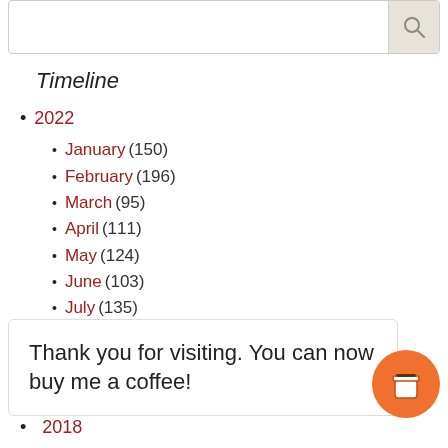[Figure (screenshot): Search bar with magnifying glass icon button on the right]
Timeline
2022
January (150)
February (196)
March (95)
April (111)
May (124)
June (103)
July (135)
August (92)
2021
Thank you for visiting. You can now buy me a coffee!
2018